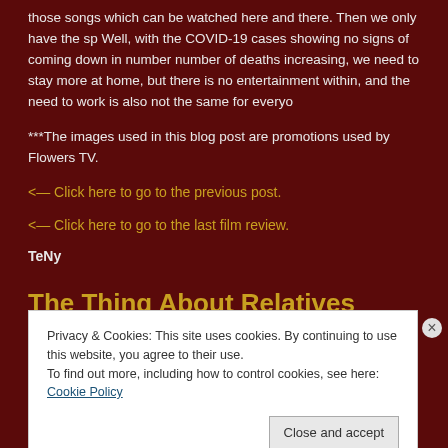those songs which can be watched here and there. Then we only have the sp Well, with the COVID-19 cases showing no signs of coming down in number number of deaths increasing, we need to stay more at home, but there is no entertainment within, and the need to work is also not the same for everyo
***The images used in this blog post are promotions used by Flowers TV.
<— Click here to go to the previous post.
<— Click here to go to the last film review.
TeNy
The Thing About Relatives
Privacy & Cookies: This site uses cookies. By continuing to use this website, you agree to their use. To find out more, including how to control cookies, see here: Cookie Policy
Close and accept